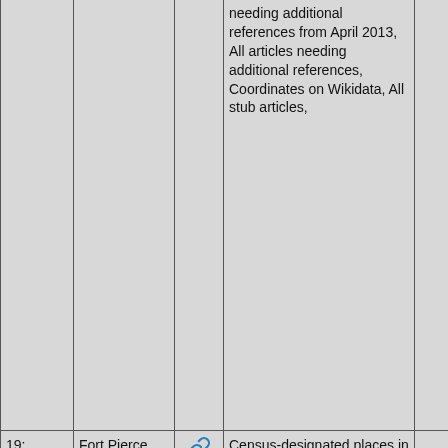| # | Name | Link | Categories | Extra |
| --- | --- | --- | --- | --- |
|  |  |  | needing additional references from April 2013, All articles needing additional references, Coordinates on Wikidata, All stub articles, |  |
| 19:
↗
8mi | Fort Pierce South, Florida | 🔗 | Census-designated places in St. Lucie County, Florida, Port St. Lucie metropolitan area, Census-designated places in Florida, Hidden categories:, Coordinates on Wikidata, |  |
| 20: ↗ | St. Lucie | 🔗 | Nuclear power |  |